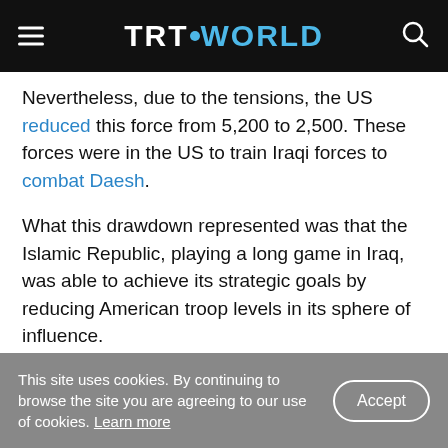TRT WORLD
Nevertheless, due to the tensions, the US reduced this force from 5,200 to 2,500. These forces were in the US to train Iraqi forces to combat Daesh.
What this drawdown represented was that the Islamic Republic, playing a long game in Iraq, was able to achieve its strategic goals by reducing American troop levels in its sphere of influence.
Furthermore, Trump’s goading of Iran in the first place by withdrawing from the deal, led to the overall instability in Iraq, shifting attention away
This site uses cookies. By continuing to browse the site you are agreeing to our use of cookies. Learn more